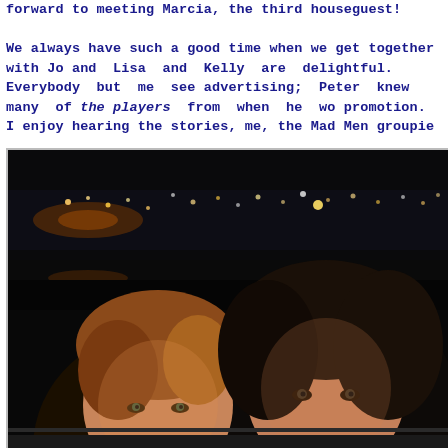forward to meeting Marcia, the third houseguest!

We always have such a good time when we get together with Jo and Lisa and Kelly are delightful. Everybody but me see advertising; Peter knew many of the players from when he wo promotion. I enjoy hearing the stories, me, the Mad Men groupie
[Figure (photo): Night-time photograph of two women posing together in front of a dark waterfront scene with city lights reflected in the background. One woman has short blonde/auburn hair and the other has long dark hair.]